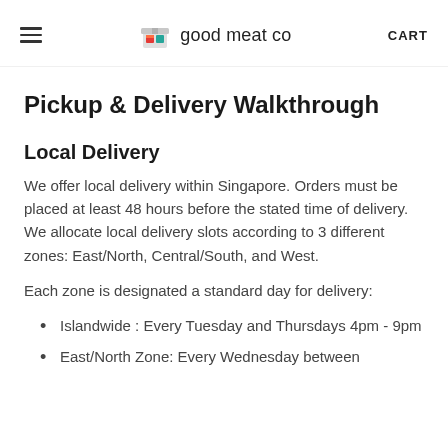good meat co  CART
Pickup & Delivery Walkthrough
Local Delivery
We offer local delivery within Singapore. Orders must be placed at least 48 hours before the stated time of delivery. We allocate local delivery slots according to 3 different zones: East/North, Central/South, and West.
Each zone is designated a standard day for delivery:
Islandwide : Every Tuesday and Thursdays 4pm - 9pm
East/North Zone: Every Wednesday between